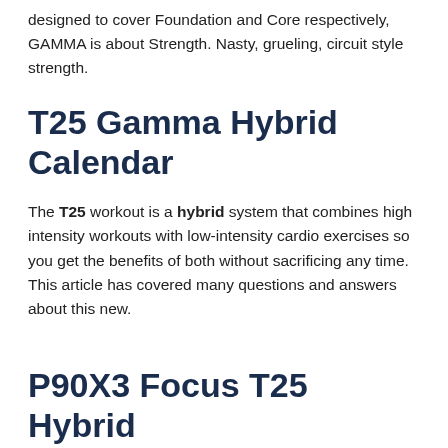designed to cover Foundation and Core respectively, GAMMA is about Strength. Nasty, grueling, circuit style strength.
T25 Gamma Hybrid Calendar
The T25 workout is a hybrid system that combines high intensity workouts with low-intensity cardio exercises so you get the benefits of both without sacrificing any time. This article has covered many questions and answers about this new.
P90X3 Focus T25 Hybrid